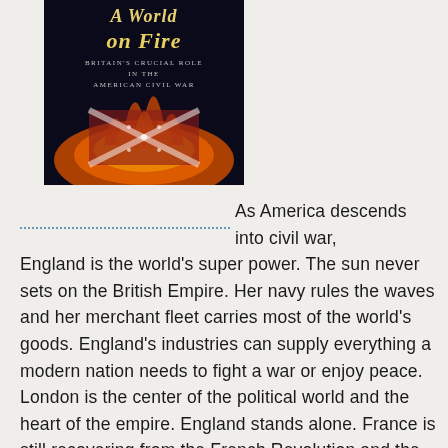[Figure (illustration): Book cover of 'A World on Fire: Britain's Crucial Role in the American Civil War' showing a dark cover with fire imagery and a Confederate flag]
As America descends into civil war, England is the world's super power. The sun never sets on the British Empire. Her navy rules the waves and her merchant fleet carries most of the world's goods. England's industries can supply everything a modern nation needs to fight a war or enjoy peace. London is the center of the political world and the heart of the empire. England stands alone. France is still recovering from the French Revolution and the Napoleonic wars with an uncertain political atmosphere. Germany is not a unified nation; Prussia is the strongest state there. Italy is in the process of becoming a unified state. Russia is huge but backward, largely occupied with expanding toward the East. China is weak and often occupied by European